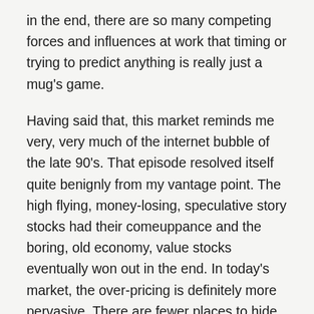in the end, there are so many competing forces and influences at work that timing or trying to predict anything is really just a mug's game.
Having said that, this market reminds me very, very much of the internet bubble of the late 90's. That episode resolved itself quite benignly from my vantage point. The high flying, money-losing, speculative story stocks had their comeuppance and the boring, old economy, value stocks eventually won out in the end. In today's market, the over-pricing is definitely more pervasive. There are fewer places to hide this time around. But the same basic dynamic is there. Story stocks, growth stocks, money-losing stocks, speculative stocks have all been on fire. Until recently, value stocks have been dragging their feet. It is possible that as this latest bubble bursts, a Peter Lynch style portfolio may hold its value better than expected. So I didn't discourage my son from making the